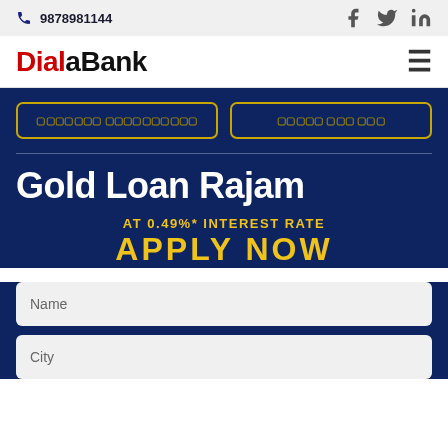📞 9878981144
[Figure (logo): DialaBank logo with Dial in red and Bank in black, hamburger menu icon on right]
aaaaaaa aaaaaaaaaa | aaaaa aaa aaa
Gold Loan Rajam
AT 0.49%* INTEREST RATE
APPLY NOW
Name
City